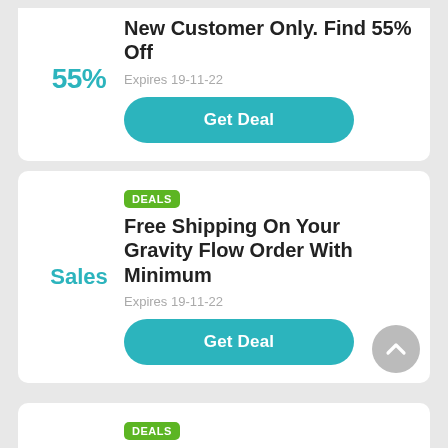New Customer Only. Find 55% Off
55%
Expires 19-11-22
Get Deal
DEALS
Free Shipping On Your Gravity Flow Order With Minimum
Sales
Expires 19-11-22
Get Deal
DEALS
15% Off First Orders